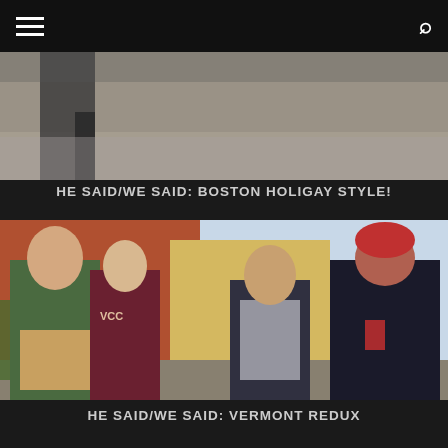☰  🔍
[Figure (photo): Partial photo showing person's legs on a wet surface, cropped at top]
HE SAID/WE SAID: BOSTON HOLIGAY STYLE!
[Figure (photo): Group photo of four young people posing in front of a brick building outdoors. One wears a green sweater with overalls, another wears a VCC maroon sweatshirt, one wears a grey scarf and dark jacket, one wears a red beanie and black suit.]
HE SAID/WE SAID: VERMONT REDUX